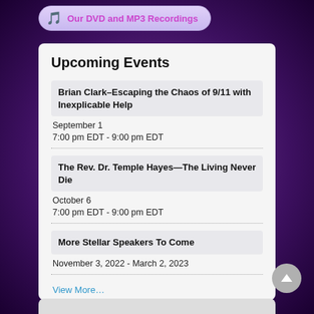[Figure (logo): Musical notes icon with a banner pill reading 'Our DVD and MP3 Recordings' in magenta text on a light purple gradient pill shape]
Upcoming Events
Brian Clark–Escaping the Chaos of 9/11 with Inexplicable Help
September 1
7:00 pm EDT - 9:00 pm EDT
The Rev. Dr. Temple Hayes—The Living Never Die
October 6
7:00 pm EDT - 9:00 pm EDT
More Stellar Speakers To Come
November 3, 2022 - March 2, 2023
View More…